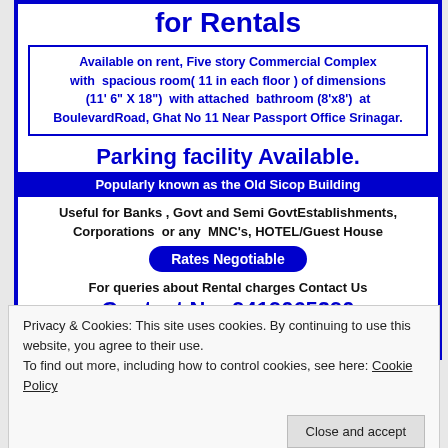for Rentals
Available on rent, Five story Commercial Complex with spacious room( 11 in each floor ) of dimensions (11' 6" X 18") with attached bathroom (8'x8') at BoulevardRoad, Ghat No 11 Near Passport Office Srinagar.
Parking facility Available.
Popularly known as the Old Sicop Building
Useful for Banks , Govt and Semi GovtEstablishments, Corporations or any MNC's, HOTEL/Guest House
Rates Negotiable
For queries about Rental charges Contact Us
Contact No: 9419065290
( EngRiyaz.A .Dar)
Privacy & Cookies: This site uses cookies. By continuing to use this website, you agree to their use.
To find out more, including how to control cookies, see here: Cookie Policy